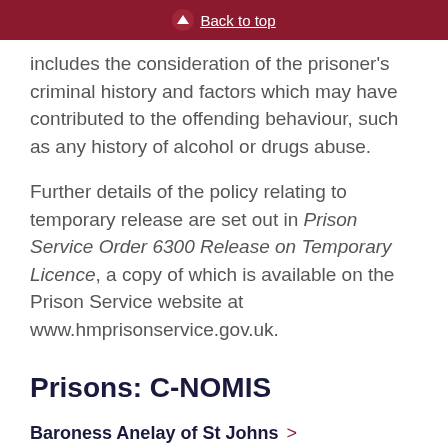Back to top
includes the consideration of the prisoner's criminal history and factors which may have contributed to the offending behaviour, such as any history of alcohol or drugs abuse.
Further details of the policy relating to temporary release are set out in Prison Service Order 6300 Release on Temporary Licence, a copy of which is available on the Prison Service website at www.hmprisonservice.gov.uk.
Prisons: C-NOMIS
Baroness Anelay of St Johns
asked Her Majesty's Government: